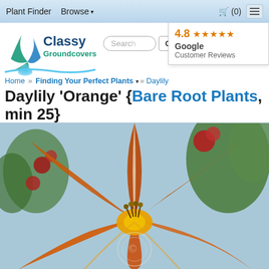Plant Finder   Browse ▾   🛒 (0)   ☰
[Figure (logo): Classy Groundcovers logo with decorative leaf/plant design in blue and teal]
Search  Go
4.8 ★★★★★ Google Customer Reviews
Home » Finding Your Perfect Plants ▼ » Daylily
Daylily 'Orange' {Bare Root Plants, min 25}
[Figure (photo): Close-up photograph of an orange daylily flower in full bloom, with red flowers and green foliage in the background. A watermark/copyright symbol is visible on the flower.]